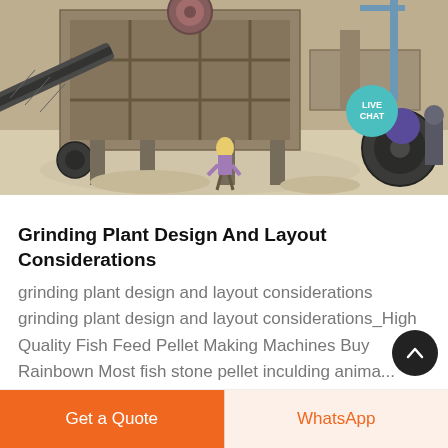[Figure (photo): Industrial stone crushing/grinding plant machinery with conveyor belts, large metal frames, heavy equipment and a worker in yellow helmet in a dusty outdoor setting. A 'LIVE CHAT' badge appears in the upper-right of the image.]
Grinding Plant Design And Layout Considerations
grinding plant design and layout considerations grinding plant design and layout considerations_High Quality Fish Feed Pellet Making Machines Buy Rainbown Most fish stone pellet inculding anima...